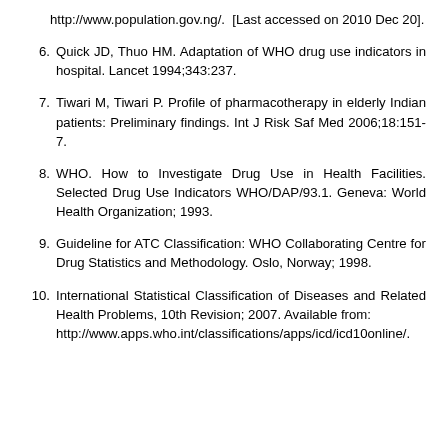http://www.population.gov.ng/. [Last accessed on 2010 Dec 20].
6. Quick JD, Thuo HM. Adaptation of WHO drug use indicators in hospital. Lancet 1994;343:237.
7. Tiwari M, Tiwari P. Profile of pharmacotherapy in elderly Indian patients: Preliminary findings. Int J Risk Saf Med 2006;18:151-7.
8. WHO. How to Investigate Drug Use in Health Facilities. Selected Drug Use Indicators WHO/DAP/93.1. Geneva: World Health Organization; 1993.
9. Guideline for ATC Classification: WHO Collaborating Centre for Drug Statistics and Methodology. Oslo, Norway; 1998.
10. International Statistical Classification of Diseases and Related Health Problems, 10th Revision; 2007. Available from: http://www.apps.who.int/classifications/apps/icd/icd10online/.